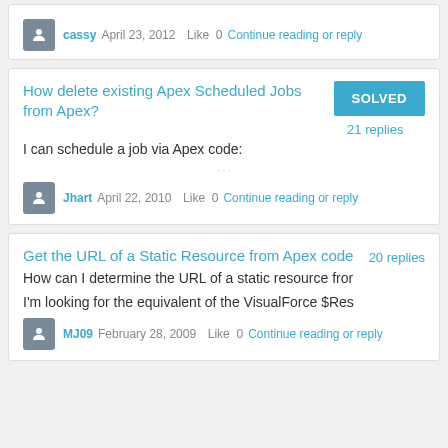cassy April 23, 2012 Like 0 Continue reading or reply
How delete existing Apex Scheduled Jobs from Apex?
SOLVED
21 replies
I can schedule a job via Apex code:
Jhart April 22, 2010 Like 0 Continue reading or reply
Get the URL of a Static Resource from Apex code
20 replies
How can I determine the URL of a static resource fror
I'm looking for the equivalent of the VisualForce $Res
MJ09 February 28, 2009 Like 0 Continue reading or reply